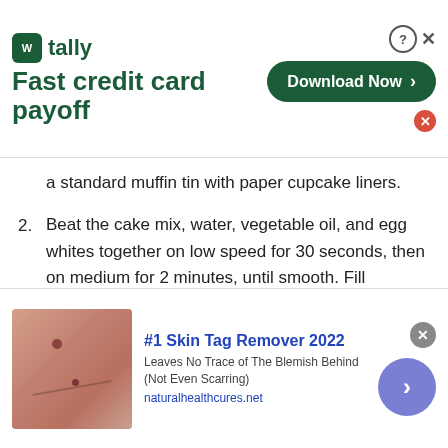[Figure (screenshot): Tally app advertisement banner: logo with green icon and 'tally' text, 'Fast credit card payoff' tagline, 'Download Now' green button with arrow, close X button]
a standard muffin tin with paper cupcake liners.
2. Beat the cake mix, water, vegetable oil, and egg whites together on low speed for 30 seconds, then on medium for 2 minutes, until smooth. Fill cupcake liners 1/3 full with white batter; set aside.
3. Stir 4 drops of red food coloring into the remaining bowl of batter to make the batter pink, stir in the raspberry oil. Pour 1/3 of pink batter into a resealable plastic bag and set aside.
[Figure (screenshot): Advertisement: skin tag remover ad with photo of skin, '#1 Skin Tag Remover 2022' title in blue, description 'Leaves No Trace of The Blemish Behind (Not Even Scarring)', URL naturalhealthcures.net, purple arrow circle button]